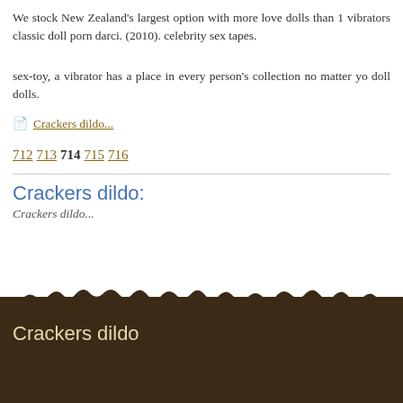We stock New Zealand's largest option with more love dolls than 1 vibrators classic doll porn darci. (2010). celebrity sex tapes.
sex-toy, a vibrator has a place in every person's collection no matter yo doll dolls.
Crackers dildo...
712 713 714 715 716
Crackers dildo:
Crackers dildo...
Crackers dildo